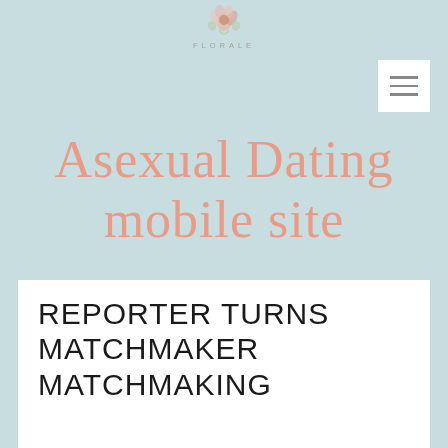[Figure (logo): Florale logo with floral illustration and text 'FLORALE' in spaced letters]
[Figure (other): Hamburger menu button (three horizontal lines) on white square background]
Asexual Dating mobile site
REPORTER TURNS MATCHMAKER MATCHMAKING